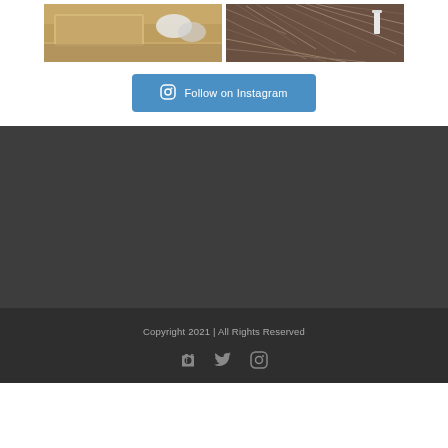[Figure (photo): Two side-by-side photos: left shows gloved hands with a gray flat object on a wooden surface; right shows pine needles on ground with a small white object]
Follow on Instagram
Copyright 2021 | All Rights Reserved